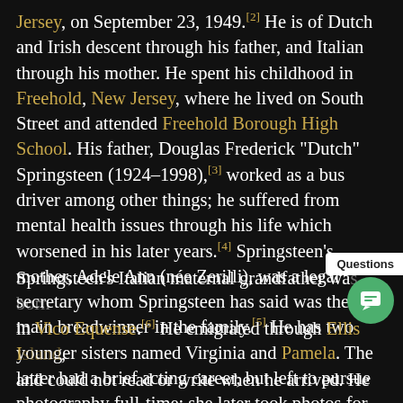Jersey, on September 23, 1949.[2] He is of Dutch and Irish descent through his father, and Italian through his mother. He spent his childhood in Freehold, New Jersey, where he lived on South Street and attended Freehold Borough High School. His father, Douglas Frederick "Dutch" Springsteen (1924–1998),[3] worked as a bus driver among other things; he suffered from mental health issues through his life which worsened in his later years.[4] Springsteen's mother, Adele Ann (née Zerilli), was a legal secretary whom Springsteen has said was the main breadwinner in the family.[5] He has two younger sisters named Virginia and Pamela. The latter had a brief acting career, but left to pursue photography full-time; she later took photos for his albums Human Touch, Lucky Town, and The Ghost of Tom Joad.
Springsteen's Italian maternal grandfather wa... in Vico Equense.[6] He emigrated through Ellis Island, and could not read or write when he arrived. He